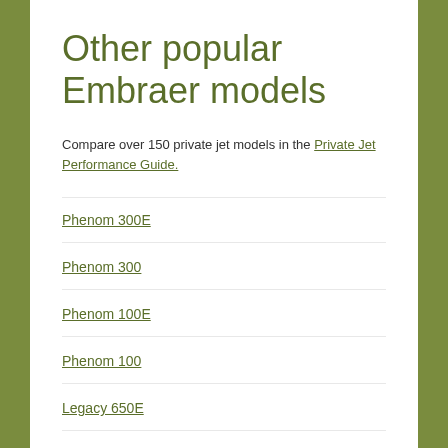Other popular Embraer models
Compare over 150 private jet models in the Private Jet Performance Guide.
Phenom 300E
Phenom 300
Phenom 100E
Phenom 100
Legacy 650E